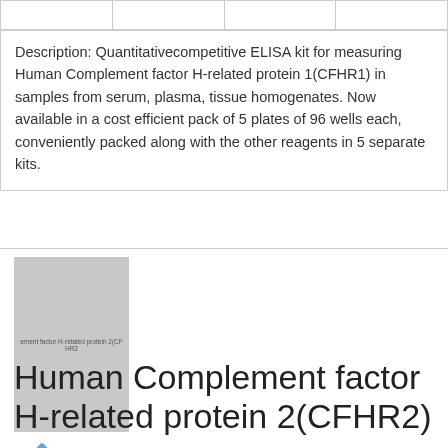|  |  |  |  |
Description: Quantitativecompetitive ELISA kit for measuring Human Complement factor H-related protein 1(CFHR1) in samples from serum, plasma, tissue homogenates. Now available in a cost efficient pack of 5 plates of 96 wells each, conveniently packed along with the other reagents in 5 separate kits.
[Figure (photo): Product image placeholder for Human Complement factor H-related protein 2 (CFHR2) with label text overlay]
Human Complement factor H-related protein 2(CFHR2)